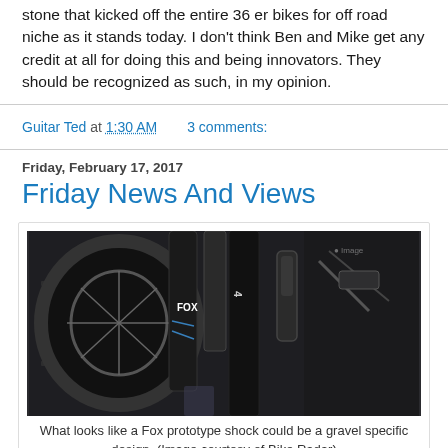stone that kicked off the entire 36 er bikes for off road niche as it stands today. I don't think Ben and Mike get any credit at all for doing this and being innovators. They should be recognized as such, in my opinion.
Guitar Ted at 1:30 AM    3 comments:
Friday, February 17, 2017
Friday News And Views
[Figure (photo): Close-up photo of a bicycle front fork and shock absorber, appearing to be a Fox prototype shock, dark/black components with a knobby tire visible, gravel bike specific design.]
What looks like a Fox prototype shock could be a gravel specific design. (Image courtesy of Bike Radar)